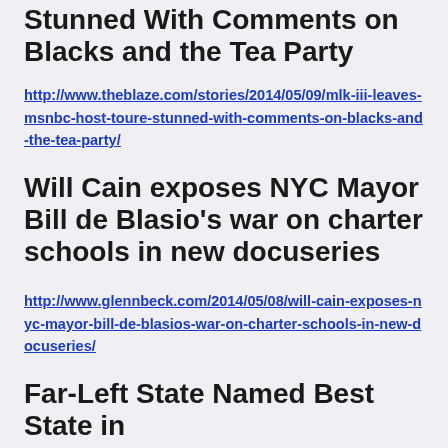MLK III Leaves MSNBC Host Toure Stunned With Comments on Blacks and the Tea Party
http://www.theblaze.com/stories/2014/05/09/mlk-iii-leaves-msnbc-host-toure-stunned-with-comments-on-blacks-and-the-tea-party/
Will Cain exposes NYC Mayor Bill de Blasio's war on charter schools in new docuseries
http://www.glennbeck.com/2014/05/08/will-cain-exposes-nyc-mayor-bill-de-blasios-war-on-charter-schools-in-new-docuseries/
Far-Left State Named Best State in